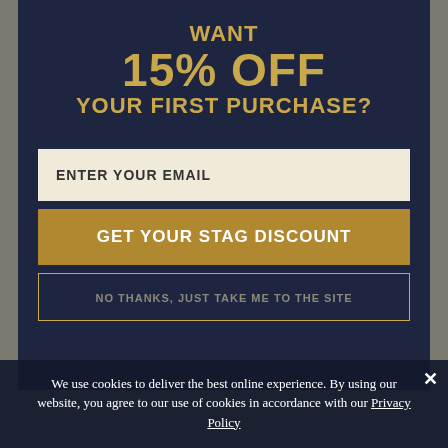WANT 15% OFF YOUR FIRST PURCHASE?
ENTER YOUR EMAIL
GET YOUR STAG DISCOUNT
NO THANKS, JUST TAKE ME TO THE SITE
We use cookies to deliver the best online experience. By using our website, you agree to our use of cookies in accordance with our Privacy Policy